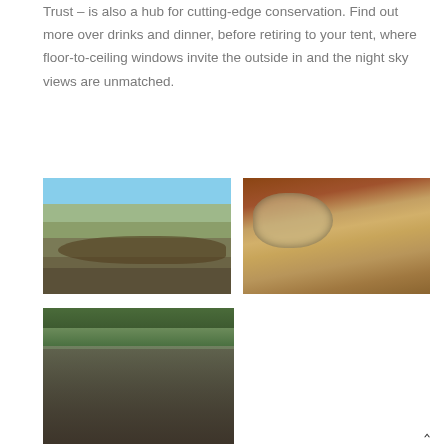Trust – is also a hub for cutting-edge conservation. Find out more over drinks and dinner, before retiring to your tent, where floor-to-ceiling windows invite the outside in and the night sky views are unmatched.
[Figure (photo): Safari scene with riders on horseback crossing an African savanna landscape under a blue sky]
[Figure (photo): A leopard resting on dry grass and earth, looking directly at the camera]
[Figure (photo): Hippos with mouths open in or near water with green vegetation in background]